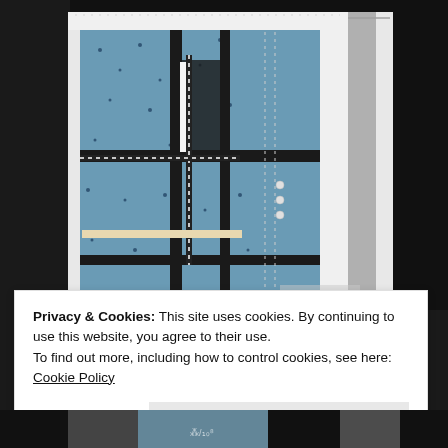[Figure (photo): Photograph of a quilt art piece featuring blue/black/white fabric patches arranged in a geometric pattern with cross-like forms, surrounded by black and silver/gray border fabric]
Privacy & Cookies: This site uses cookies. By continuing to use this website, you agree to their use.
To find out more, including how to control cookies, see here: Cookie Policy
Close and accept